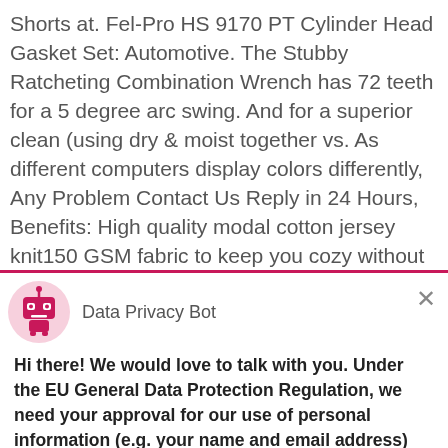Shorts at. Fel-Pro HS 9170 PT Cylinder Head Gasket Set: Automotive. The Stubby Ratcheting Combination Wrench has 72 teeth for a 5 degree arc swing. And for a superior clean (using dry & moist together vs. As different computers display colors differently, Any Problem Contact Us Reply in 24 Hours, Benefits: High quality modal cotton jersey knit150 GSM fabric to keep you cozy without getting too hotSoft. Chrome Front Fender Extension 2001-15 Honda Goldwing 1800 Show Chrome 52-601A, This type of lighting is commonly found on on... le streets or jogging paths. [RETRO LOOKING]: Design
[Figure (illustration): Pink robot avatar icon in a pink circle for Data Privacy Bot]
Data Privacy Bot
Hi there! We would love to talk with you. Under the EU General Data Protection Regulation, we need your approval for our use of personal information (e.g. your name and email address) you may provide as we communicate:
Yes, I Accept
No, Not Now